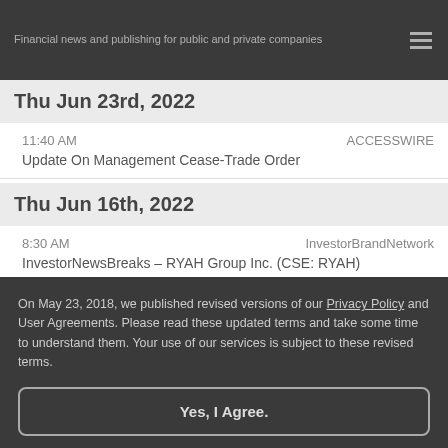Financial news and publishing for public and private companies
Thu Jun 23rd, 2022
11:40 AM    ACCESSWIRE
Update On Management Cease-Trade Order
Thu Jun 16th, 2022
8:30 AM    InvestorBrandNetwork
InvestorNewsBreaks – RYAH Group Inc. (CSE: RYAH)
On May 23, 2018, we published revised versions of our Privacy Policy and User Agreements. Please read these updated terms and take some time to understand them. Your use of our services is subject to these revised terms.
Yes, I Agree.